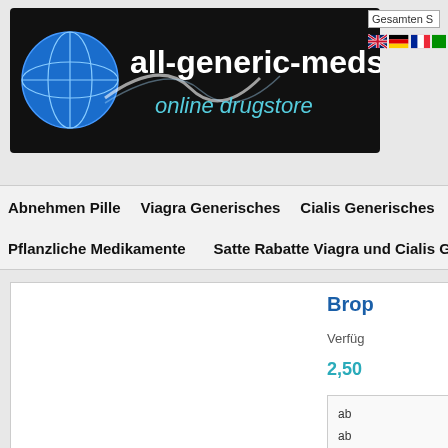[Figure (logo): all-generic-meds.com online drugstore logo with globe icon on black background]
Gesamten S
[Figure (illustration): UK flag, German flag, French flag, and green flag icons for language selection]
Abnehmen Pille   Viagra Generisches   Cialis Generisches   Kamag
Pflanzliche Medikamente   Satte Rabatte Viagra und Cialis Generika
Brop
Verfüg
2,50
ab
ab
Brom in inc
Meng